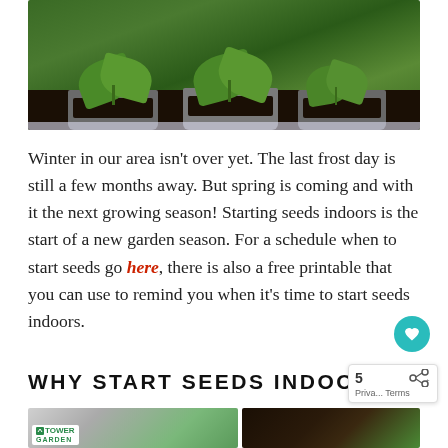[Figure (photo): Photo of young seedling plants growing in dark soil-filled pots, with large green leaves visible, on a light surface.]
Winter in our area isn't over yet. The last frost day is still a few months away. But spring is coming and with it the next growing season! Starting seeds indoors is the start of a new garden season. For a schedule when to start seeds go here, there is also a free printable that you can use to remind you when it's time to start seeds indoors.
WHY START SEEDS INDOORS?
[Figure (photo): Two side-by-side photos: left shows Tower Garden product with seedlings; right shows close-up of seeds/seedlings in dark soil.]